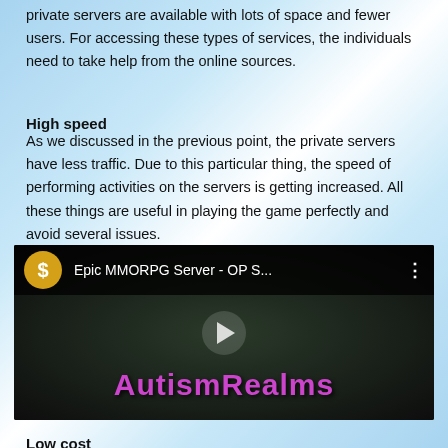private servers are available with lots of space and fewer users. For accessing these types of services, the individuals need to take help from the online sources.
High speed
As we discussed in the previous point, the private servers have less traffic. Due to this particular thing, the speed of performing activities on the servers is getting increased. All these things are useful in playing the game perfectly and avoid several issues.
[Figure (screenshot): YouTube video thumbnail for 'Epic MMORPG Server - OP S...' with a gold dollar-sign circle icon, dark gaming background, and 'AutismRealms' text in purple at the bottom with a play button in the center.]
Low cost